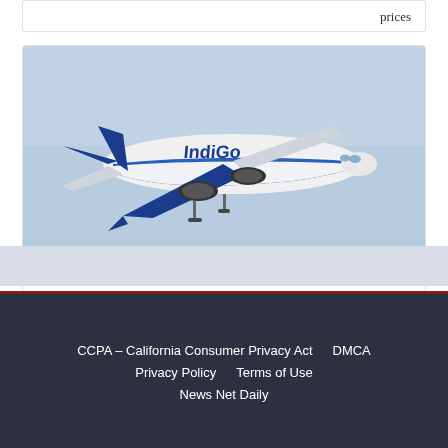prices
[Figure (photo): IndiGo Airlines aircraft (blue and white livery) taking off against a light blue sky]
IndiGo and Virgin Atlantic announce codeshare agreement
CCPA – California Consumer Privacy Act   DMCA   Privacy Policy   Terms of Use   News Net Daily